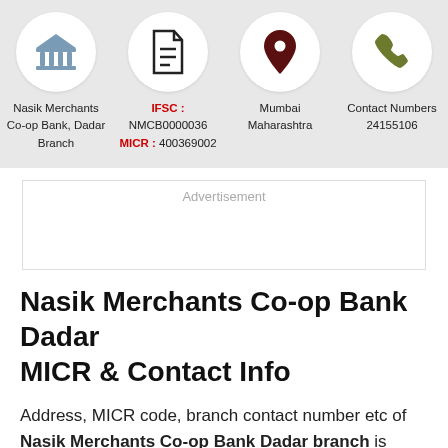[Figure (infographic): Four icon circles in a row: bank building icon (blue-grey), document icon (dark), location pin icon (dark red), phone icon (olive green)]
Nasik Merchants Co-op Bank, Dadar Branch
IFSC : NMCB0000036
MICR : 400369002
Mumbai Maharashtra
Contact Numbers 24155106
Advertisement
Nasik Merchants Co-op Bank Dadar MICR & Contact Info
Address, MICR code, branch contact number etc of Nasik Merchants Co-op Bank Dadar branch is given below. You may contact the branch or the Customer Care number of the bank information